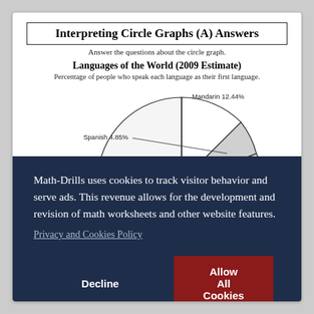Interpreting Circle Graphs (A) Answers
Answer the questions about the circle graph.
Languages of the World (2009 Estimate)
Percentage of people who speak each language as their first language.
[Figure (pie-chart): Languages of the World (2009 Estimate)]
Math-Drills uses cookies to track visitor behavior and serve ads. This revenue allows for the development and revision of math worksheets and other website features.
Privacy and Cookies Policy
Decline
Allow All Cookies